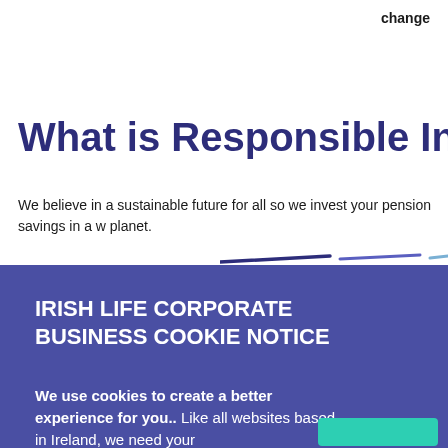change
What is Responsible Investm
We believe in a sustainable future for all so we invest your pension savings in a w planet.
IRISH LIFE CORPORATE BUSINESS COOKIE NOTICE
We use cookies to create a better experience for you.. Like all websites based in Ireland, we need your